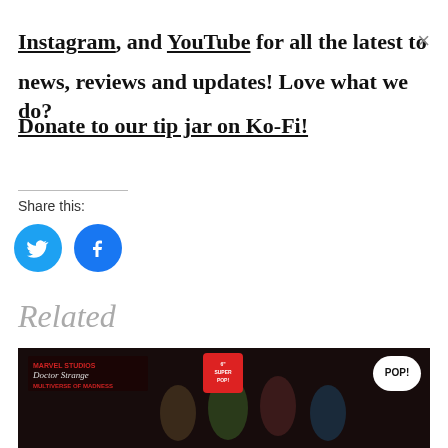Instagram, and YouTube for all the latest to news, reviews and updates! Love what we do? Donate to our tip jar on Ko-Fi!
Share this:
[Figure (illustration): Twitter and Facebook social share icon buttons (circular, blue)]
Related
[Figure (photo): Doctor Strange in the Multiverse of Madness Funko Pop figures promotional image showing Doctor Strange, a green creature, Scarlet Witch, and other characters on a dark background with the Funko Pop logo]